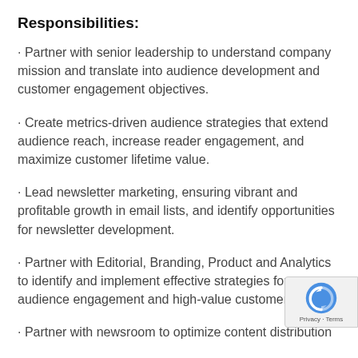Responsibilities:
· Partner with senior leadership to understand company mission and translate into audience development and customer engagement objectives.
· Create metrics-driven audience strategies that extend audience reach, increase reader engagement, and maximize customer lifetime value.
· Lead newsletter marketing, ensuring vibrant and profitable growth in email lists, and identify opportunities for newsletter development.
· Partner with Editorial, Branding, Product and Analytics to identify and implement effective strategies for audience engagement and high-value customer act
· Partner with newsroom to optimize content distribution